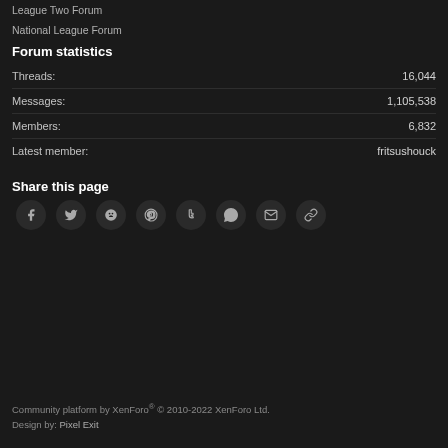League Two Forum
National League Forum
Forum statistics
| Stat | Value |
| --- | --- |
| Threads: | 16,044 |
| Messages: | 1,105,538 |
| Members: | 6,832 |
| Latest member: | fritsushouck |
Share this page
[Figure (infographic): Social share icons: Facebook, Twitter, Reddit, Pinterest, Tumblr, WhatsApp, Email, Link]
Community platform by XenForo® © 2010-2022 XenForo Ltd. Design by: Pixel Exit